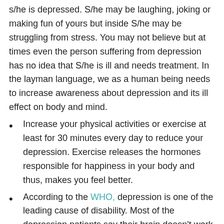s/he is depressed. S/he may be laughing, joking or making fun of yours but inside S/he may be struggling from stress. You may not believe but at times even the person suffering from depression has no idea that S/he is ill and needs treatment. In the layman language, we as a human being needs to increase awareness about depression and its ill effect on body and mind.
Increase your physical activities or exercise at least for 30 minutes every day to reduce your depression. Exercise releases the hormones responsible for happiness in your body and thus, makes you feel better.
According to the WHO, depression is one of the leading cause of disability. Most of the depression patients say their brain doesn't work properly and they aren't able to make a decision. The worst part is depressed persons aren't sure of themselves and thus, need a lot of effort